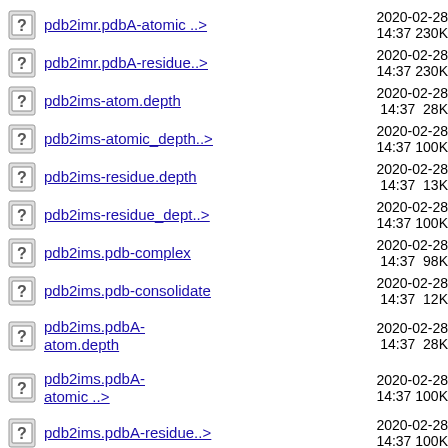pdb2imr.pdbA-atomic ..>  2020-02-28 14:37  230K
pdb2imr.pdbA-residue..>  2020-02-28 14:37  230K
pdb2ims-atom.depth  2020-02-28 14:37  28K
pdb2ims-atomic_depth..>  2020-02-28 14:37  100K
pdb2ims-residue.depth  2020-02-28 14:37  13K
pdb2ims-residue_dept..>  2020-02-28 14:37  100K
pdb2ims.pdb-complex  2020-02-28 14:37  98K
pdb2ims.pdb-consolidate  2020-02-28 14:37  12K
pdb2ims.pdbA-atom.depth  2020-02-28 14:37  28K
pdb2ims.pdbA-atomic ..>  2020-02-28 14:37  100K
pdb2ims.pdbA-residue..>  2020-02-28 14:37  100K